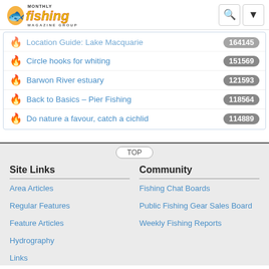[Figure (logo): Fishing Monthly Magazine Group logo with flame/fish icon, colorful text, MONTHLY above, MAGAZINE GROUP below]
Location Guide: Lake Macquarie — 164145
Circle hooks for whiting — 151569
Barwon River estuary — 121593
Back to Basics – Pier Fishing — 118564
Do nature a favour, catch a cichlid — 114889
TOP
Site Links
Community
Area Articles
Fishing Chat Boards
Regular Features
Public Fishing Gear Sales Board
Feature Articles
Weekly Fishing Reports
Hydrography
Links